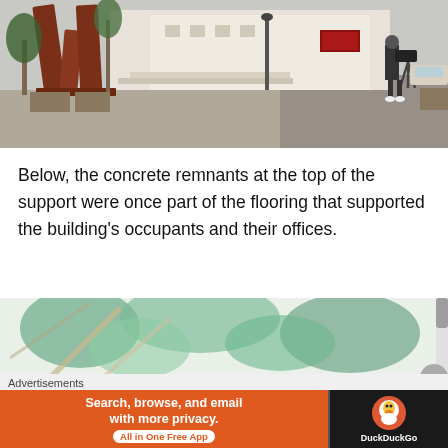[Figure (photo): Outdoor plaza with a large red LOVE sculpture, palm trees, white buildings, and a cameraman on a tripod filming in a sunny urban setting.]
Below, the concrete remnants at the top of the support were once part of the flooring that supported the building's occupants and their offices.
[Figure (photo): Close-up outdoor photo looking up through green tree branches and foliage against a bright sky, with concrete supports visible.]
Advertisements
[Figure (infographic): DuckDuckGo advertisement banner: 'Search, browse, and email with more privacy. All in One Free App' with DuckDuckGo logo on dark background.]